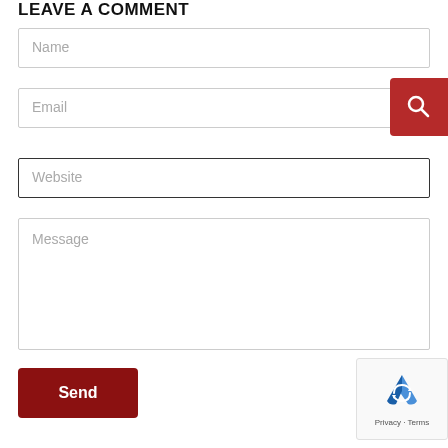LEAVE A COMMENT
Name
Email
[Figure (other): Red search button with magnifying glass icon, positioned at top right of email field]
Website
Message
Send
[Figure (other): reCAPTCHA widget with logo and Privacy · Terms text]